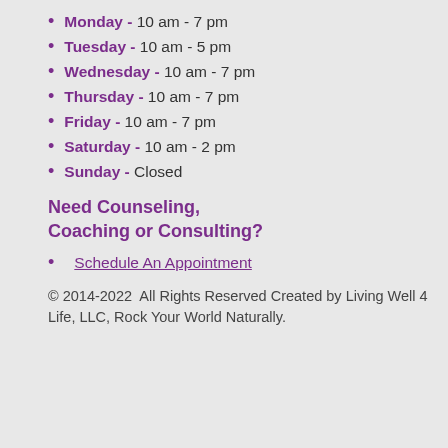Monday - 10 am - 7 pm
Tuesday - 10 am - 5 pm
Wednesday - 10 am - 7 pm
Thursday - 10 am - 7 pm
Friday - 10 am - 7 pm
Saturday - 10 am - 2 pm
Sunday - Closed
Need Counseling, Coaching or Consulting?
Schedule An Appointment
© 2014-2022  All Rights Reserved Created by Living Well 4 Life, LLC, Rock Your World Naturally.